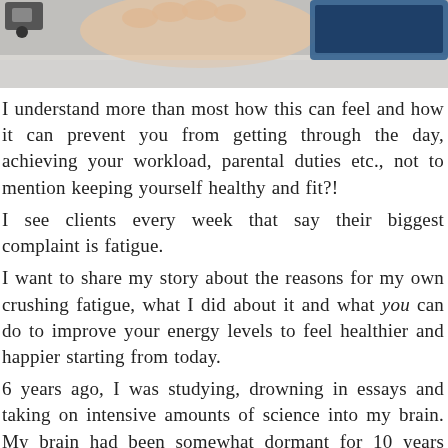[Figure (photo): A photo showing hands, possibly writing or working, with a blue laptop or object in the background on a grey/white surface.]
I understand more than most how this can feel and how it can prevent you from getting through the day, achieving your workload, parental duties etc., not to mention keeping yourself healthy and fit?!
I see clients every week that say their biggest complaint is fatigue.
I want to share my story about the reasons for my own crushing fatigue, what I did about it and what you can do to improve your energy levels to feel healthier and happier starting from today.
6 years ago, I was studying, drowning in essays and taking on intensive amounts of science into my brain. My brain had been somewhat dormant for 10 years bringing up my three children and I was also experiencing a hugely emotionally stressful period in my life, this I believed, was